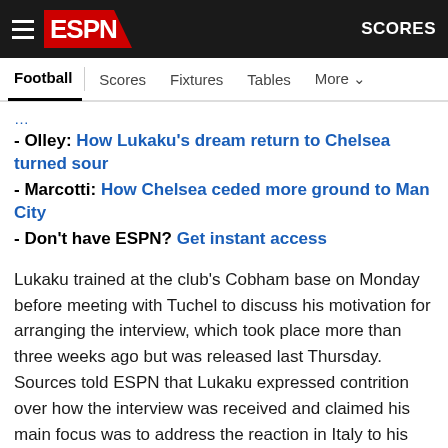ESPN - Football | Scores | Fixtures | Tables | More | SCORES
- Olley: How Lukaku's dream return to Chelsea turned sour
- Marcotti: How Chelsea ceded more ground to Man City
- Don't have ESPN? Get instant access
Lukaku trained at the club's Cobham base on Monday before meeting with Tuchel to discuss his motivation for arranging the interview, which took place more than three weeks ago but was released last Thursday. Sources told ESPN that Lukaku expressed contrition over how the interview was received and claimed his main focus was to address the reaction in Italy to his departure from Inter in the summer.
In a video released by Chelsea on Tuesday, Lukaku said he was